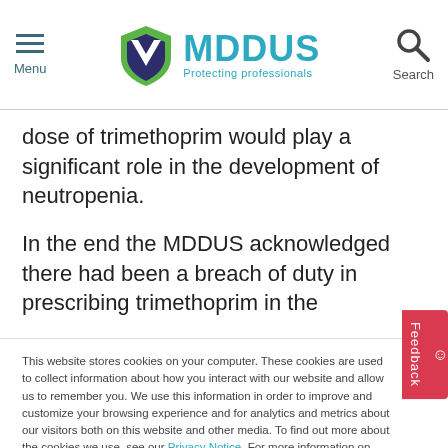MDDUS — Protecting professionals
dose of trimethoprim would play a significant role in the development of neutropenia.
In the end the MDDUS acknowledged there had been a breach of duty in prescribing trimethoprim in the
This website stores cookies on your computer. These cookies are used to collect information about how you interact with our website and allow us to remember you. We use this information in order to improve and customize your browsing experience and for analytics and metrics about our visitors both on this website and other media. To find out more about the cookies we use, see our Privacy Notice. For more information on cookies and how to manage, delete and disable them please visit https://www.allaboutcookies.org/